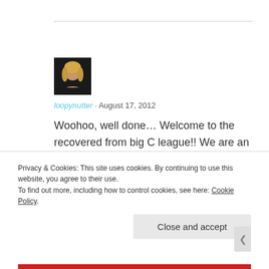[Figure (photo): Avatar photo of a blonde woman on dark background]
loopynutter · August 17, 2012
Woohoo, well done… Welcome to the recovered from big C league!! We are an ever growing crowd! Enjoy the champers… And bring on 2013… We've made it!! Xx
Privacy & Cookies: This site uses cookies. By continuing to use this website, you agree to their use.
To find out more, including how to control cookies, see here: Cookie Policy